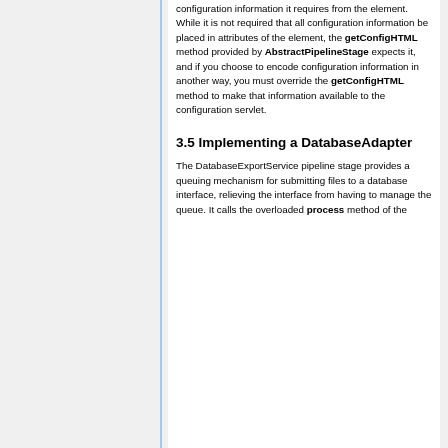configuration information it requires from the element. While it is not required that all configuration information be placed in attributes of the element, the getConfigHTML method provided by AbstractPipelineStage expects it, and if you choose to encode configuration information in another way, you must override the getConfigHTML method to make that information available to the configuration servlet.
3.5 Implementing a DatabaseAdapter
The DatabaseExportService pipeline stage provides a queuing mechanism for submitting files to a database interface, relieving the interface from having to manage the queue. It calls the overloaded process method of the